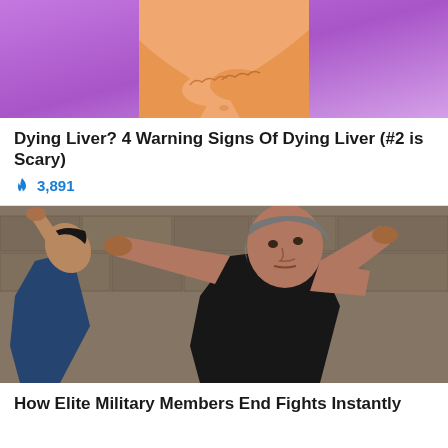[Figure (illustration): Cartoon/illustration of a person holding their midsection against a purple/pink gradient background, partially cropped at top]
Dying Liver? 4 Warning Signs Of Dying Liver (#2 is Scary)
🔥 3,891
[Figure (photo): Photo of two men in a martial arts/self-defense scenario outdoors against a stone wall background — older grey-haired man striking younger man in dark blue shirt]
How Elite Military Members End Fights Instantly